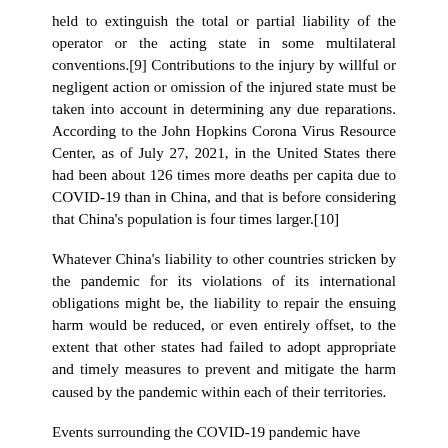held to extinguish the total or partial liability of the operator or the acting state in some multilateral conventions.[9] Contributions to the injury by willful or negligent action or omission of the injured state must be taken into account in determining any due reparations. According to the John Hopkins Corona Virus Resource Center, as of July 27, 2021, in the United States there had been about 126 times more deaths per capita due to COVID-19 than in China, and that is before considering that China's population is four times larger.[10]
Whatever China's liability to other countries stricken by the pandemic for its violations of its international obligations might be, the liability to repair the ensuing harm would be reduced, or even entirely offset, to the extent that other states had failed to adopt appropriate and timely measures to prevent and mitigate the harm caused by the pandemic within each of their territories.
Events surrounding the COVID-19 pandemic have